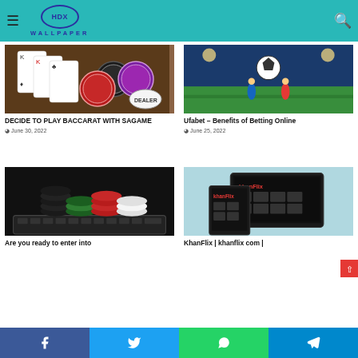HDX Wallpaper
[Figure (photo): Playing cards and poker chips with a DEALER chip on a wooden surface]
DECIDE TO PLAY BACCARAT WITH SAGAME
June 30, 2022
[Figure (photo): Soccer player kicking a ball on a stadium pitch]
Ufabet – Benefits of Betting Online
June 25, 2022
[Figure (photo): Stacks of colorful casino chips on a laptop keyboard]
Are you ready to enter into
[Figure (photo): KhanFlix streaming app shown on mobile and tablet devices on a light blue background]
KhanFlix | khanflix com |